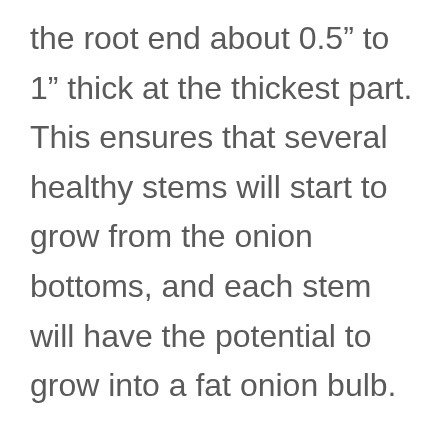the root end about 0.5" to 1" thick at the thickest part. This ensures that several healthy stems will start to grow from the onion bottoms, and each stem will have the potential to grow into a fat onion bulb.

Next, let the onion scraps grow roots by placing them upside-down in a pot filled with damp soil. Cover the pot with a thin layer of